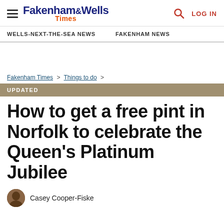Fakenham & Wells Times — LOG IN
WELLS-NEXT-THE-SEA NEWS   FAKENHAM NEWS
Fakenham Times > Things to do >
UPDATED
How to get a free pint in Norfolk to celebrate the Queen's Platinum Jubilee
Casey Cooper-Fiske